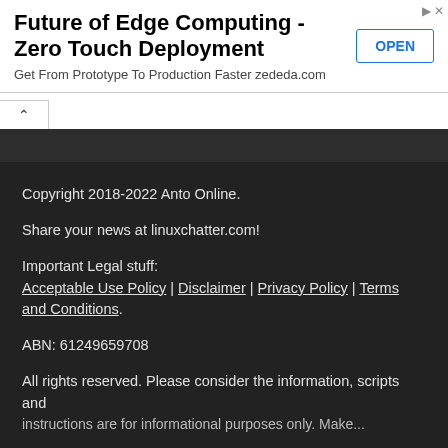[Figure (other): Advertisement banner for 'Future of Edge Computing - Zero Touch Deployment' by zededa.com with an OPEN button]
Copyright 2018-2022 Anto Online.
Share your news at linuxchatter.com!
Important Legal stuff:
Acceptable Use Policy | Disclaimer | Privacy Policy | Terms and Conditions.
ABN: 61249659708
All rights reserved. Please consider the information, scripts and